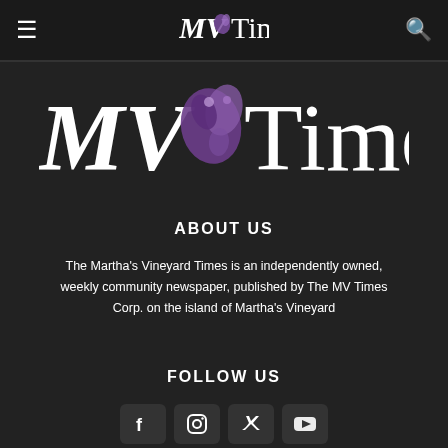MV Times header navigation with hamburger menu, logo, and search icon
[Figure (logo): MV Times newspaper logo — large serif text with illustrated purple bird/fox graphic between MV and Times]
ABOUT US
The Martha's Vineyard Times is an independently owned, weekly community newspaper, published by The MV Times Corp. on the island of Martha's Vineyard
FOLLOW US
[Figure (infographic): Social media icons row: Facebook, Instagram, Twitter, YouTube — dark rounded square buttons]